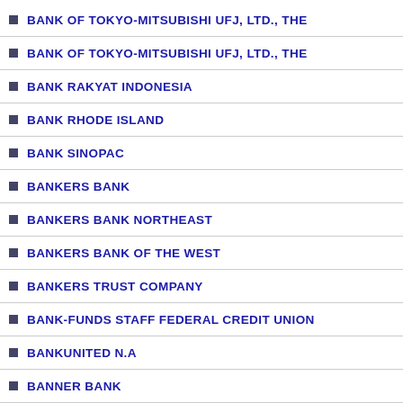BANK OF TOKYO-MITSUBISHI UFJ, LTD., THE
BANK OF TOKYO-MITSUBISHI UFJ, LTD., THE
BANK RAKYAT INDONESIA
BANK RHODE ISLAND
BANK SINOPAC
BANKERS BANK
BANKERS BANK NORTHEAST
BANKERS BANK OF THE WEST
BANKERS TRUST COMPANY
BANK-FUNDS STAFF FEDERAL CREDIT UNION
BANKUNITED N.A
BANNER BANK
BARCLAYS BANK PLC
BARCLAYS BANK PLC